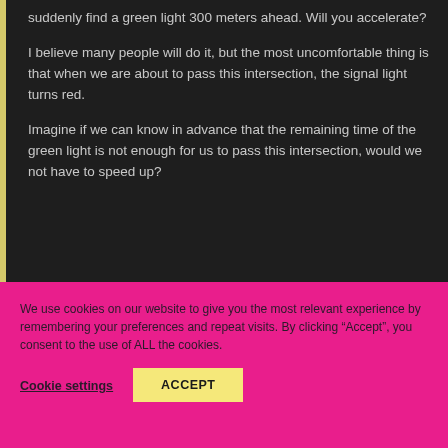suddenly find a green light 300 meters ahead. Will you accelerate?
I believe many people will do it, but the most uncomfortable thing is that when we are about to pass this intersection, the signal light turns red.
Imagine if we can know in advance that the remaining time of the green light is not enough for us to pass this intersection, would we not have to speed up?
We use cookies on our website to give you the most relevant experience by remembering your preferences and repeat visits. By clicking “Accept”, you consent to the use of ALL the cookies.
Cookie settings
ACCEPT